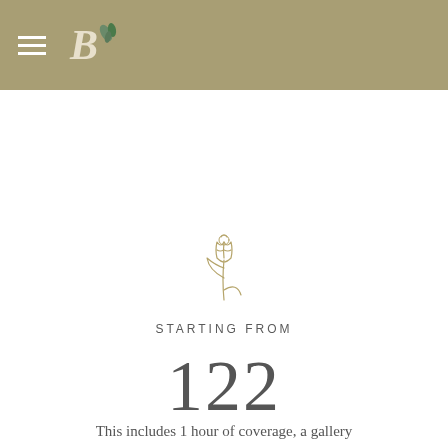[Figure (illustration): Gold/tan line art illustration of a tulip or rose flower with a stem and leaves]
STARTING FROM
122
This includes 1 hour of coverage, a gallery with 50-100 images with headshots and